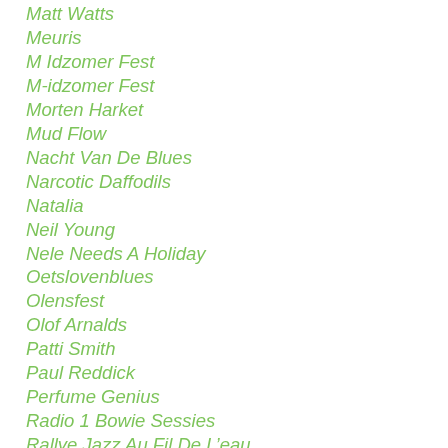Matt Watts
Meuris
M Idzomer Fest
M-idzomer Fest
Morten Harket
Mud Flow
Nacht Van De Blues
Narcotic Daffodils
Natalia
Neil Young
Nele Needs A Holiday
Oetslovenblues
Olensfest
Olof Arnalds
Patti Smith
Paul Reddick
Perfume Genius
Radio 1 Bowie Sessies
Rallye Jazz Au Fil De L'eau
Ralph De Jongh
Randy Newman